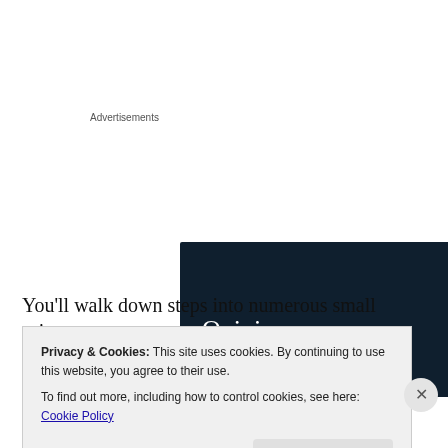Advertisements
[Figure (illustration): WordPress advertisement banner with dark navy background, WordPress logo (W in circle) in top right, text 'Opinions.' in white serif font, and 'We all have them!' in white bold serif font below.]
You'll walk down steps into numerous small private
Privacy & Cookies: This site uses cookies. By continuing to use this website, you agree to their use.
To find out more, including how to control cookies, see here: Cookie Policy

Close and accept